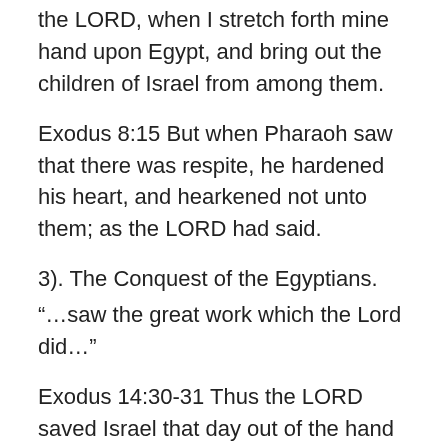the LORD, when I stretch forth mine hand upon Egypt, and bring out the children of Israel from among them.
Exodus 8:15 But when Pharaoh saw that there was respite, he hardened his heart, and hearkened not unto them; as the LORD had said.
3). The Conquest of the Egyptians.
“…saw the great work which the Lord did…”
Exodus 14:30-31 Thus the LORD saved Israel that day out of the hand of the Egyptians; and Israel saw the Egyptians dead upon the sea shore. And Israel saw that great work which the LORD did upon the Egyptians: and the people feared the LORD, and believed the LORD, and his servant Moses.
Exodus 15:13 Thou in thy mercy hast led forth the people